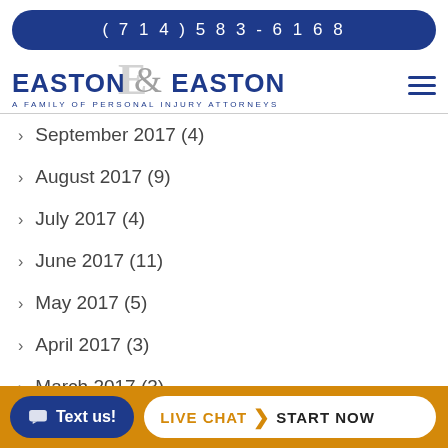(714) 583-6168
[Figure (logo): Easton & Easton - A Family of Personal Injury Attorneys logo]
September 2017 (4)
August 2017 (9)
July 2017 (4)
June 2017 (11)
May 2017 (5)
April 2017 (3)
March 2017 (3)
February 2017 (1)
Text us! | LIVE CHAT > START NOW